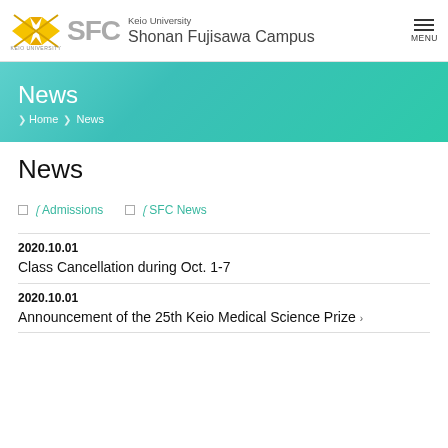[Figure (logo): Keio University SFC logo with yellow bird/cross icon and SFC text, Shonan Fujisawa Campus header with MENU button]
Keio University Shonan Fujisawa Campus
News
Home › News
News
Admissions
SFC News
2020.10.01
Class Cancellation during Oct. 1-7
2020.10.01
Announcement of the 25th Keio Medical Science Prize ›